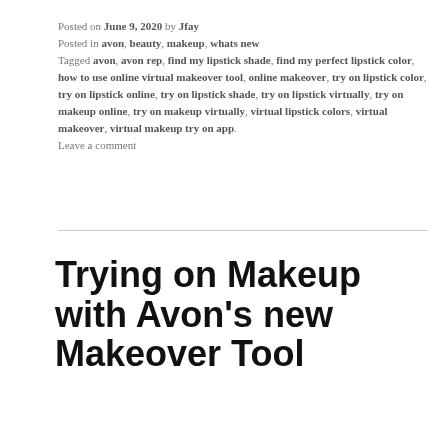Posted on June 9, 2020 by Jfay
Posted in avon, beauty, makeup, whats new
Tagged avon, avon rep, find my lipstick shade, find my perfect lipstick color, how to use online virtual makeover tool, online makeover, try on lipstick color, try on lipstick online, try on lipstick shade, try on lipstick virtually, try on makeup online, try on makeup virtually, virtual lipstick colors, virtual makeover, virtual makeup try on app.
Leave a comment
Trying on Makeup with Avon’s new Makeover Tool
[Figure (photo): Two side-by-side photos of a woman outdoors — before and after virtual makeup try-on using Avon's makeover tool]